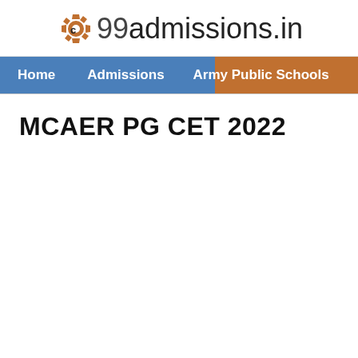[Figure (logo): 99admissions.in logo with gear icon on the left and text '99admissions.in' on the right]
Home   Admissions   Army Public Schools   En
MCAER PG CET 2022